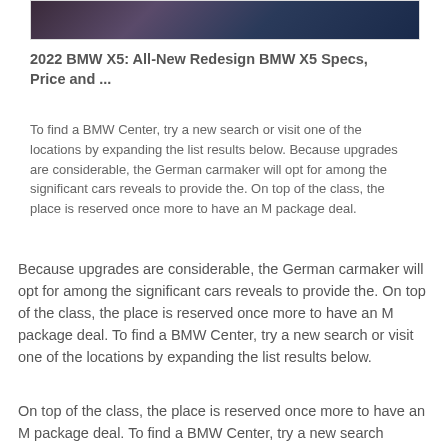[Figure (photo): Partial view of a BMW X5 vehicle photo, appears to show dark/moody car photography]
2022 BMW X5: All-New Redesign BMW X5 Specs, Price and ...
To find a BMW Center, try a new search or visit one of the locations by expanding the list results below. Because upgrades are considerable, the German carmaker will opt for among the significant cars reveals to provide the. On top of the class, the place is reserved once more to have an M package deal.
Because upgrades are considerable, the German carmaker will opt for among the significant cars reveals to provide the. On top of the class, the place is reserved once more to have an M package deal. To find a BMW Center, try a new search or visit one of the locations by expanding the list results below.
On top of the class, the place is reserved once more to have an M package deal. To find a BMW Center, try a new search